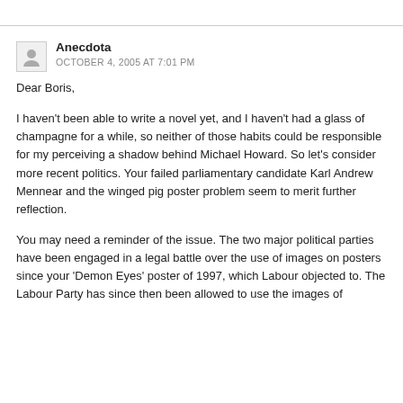Anecdota
OCTOBER 4, 2005 AT 7:01 PM
Dear Boris,
I haven’t been able to write a novel yet, and I haven’t had a glass of champagne for a while, so neither of those habits could be responsible for my perceiving a shadow behind Michael Howard. So let’s consider more recent politics. Your failed parliamentary candidate Karl Andrew Mennear and the winged pig poster problem seem to merit further reflection.
You may need a reminder of the issue. The two major political parties have been engaged in a legal battle over the use of images on posters since your ‘Demon Eyes’ poster of 1997, which Labour objected to. The Labour Party has since then been allowed to use the images of